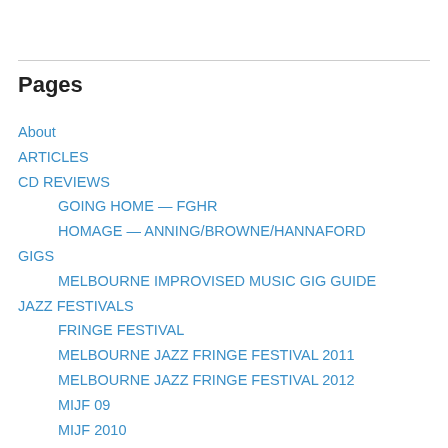Pages
About
ARTICLES
CD REVIEWS
GOING HOME — FGHR
HOMAGE — ANNING/BROWNE/HANNAFORD
GIGS
MELBOURNE IMPROVISED MUSIC GIG GUIDE
JAZZ FESTIVALS
FRINGE FESTIVAL
MELBOURNE JAZZ FRINGE FESTIVAL 2011
MELBOURNE JAZZ FRINGE FESTIVAL 2012
MIJF 09
MIJF 2010
MIJF 2011
MIJF 2012